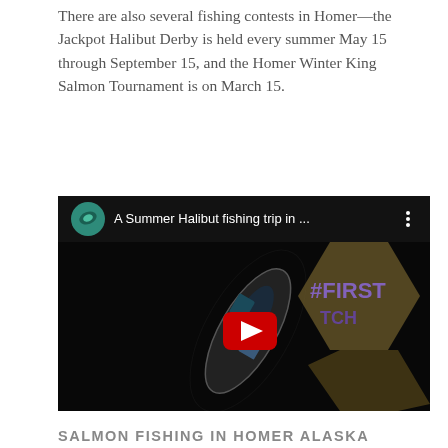There are also several fishing contests in Homer—the Jackpot Halibut Derby is held every summer May 15 through September 15, and the Homer Winter King Salmon Tournament is on March 15.
[Figure (screenshot): YouTube video thumbnail showing aerial view of a fishing boat on dark water with text overlay '#FIRST TCH'. Video title: 'A Summer Halibut fishing trip in ...']
SALMON FISHING IN HOMER ALASKA